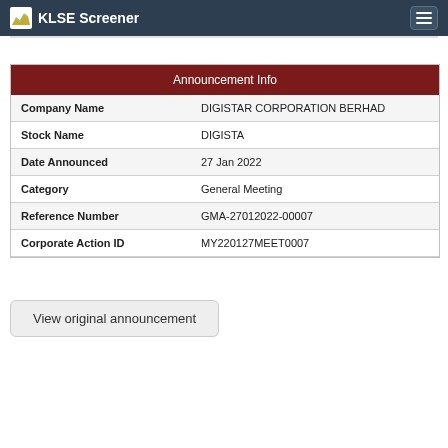KLSE Screener
| Announcement Info |
| --- |
| Company Name | DIGISTAR CORPORATION BERHAD |
| Stock Name | DIGISTA |
| Date Announced | 27 Jan 2022 |
| Category | General Meeting |
| Reference Number | GMA-27012022-00007 |
| Corporate Action ID | MY220127MEET0007 |
View original announcement